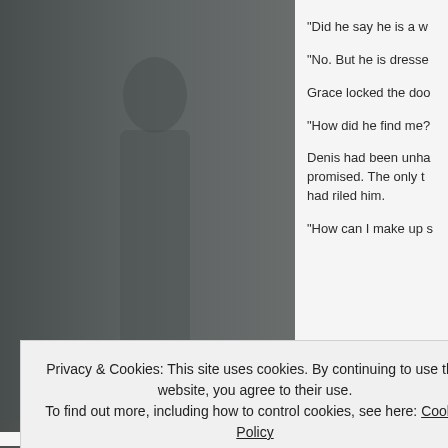[Figure (photo): Dark grey/teal photograph taking up the left two-thirds of the page, showing a muted abstract or portrait background with dark tones.]
“Did he say he is a w
“No. But he is dresse
Grace locked the doo
“How did he find me?
Denis had been unha promised. The only t had riled him.
“How can I make up s
Privacy & Cookies: This site uses cookies. By continuing to use this website, you agree to their use.
To find out more, including how to control cookies, see here: Cookie Policy
Close and accept
AIRPORT-TIZE.AG